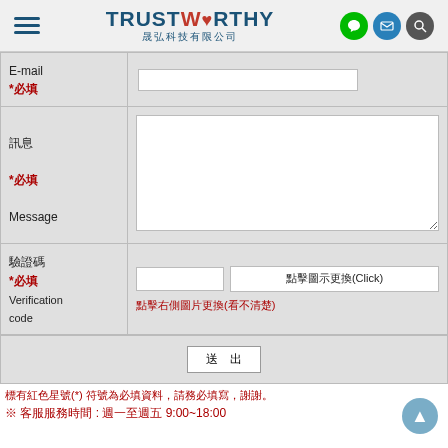TrustWorthy 晟弘科技有限公司
| Label | Input |
| --- | --- |
| E-mail *必填 | (text input) |
| 訊息 *必填 Message | (textarea) |
| 驗證碼 *必填 Verification code | (input) 點擊圖示更換(Click) 點擊右側圖片更換(看不清楚) |
送出
標有紅色星號(*) 符號為必填資料，請務必填寫，謝謝。
※ 客服服務時間 : 週一至週五 9:00~18:00